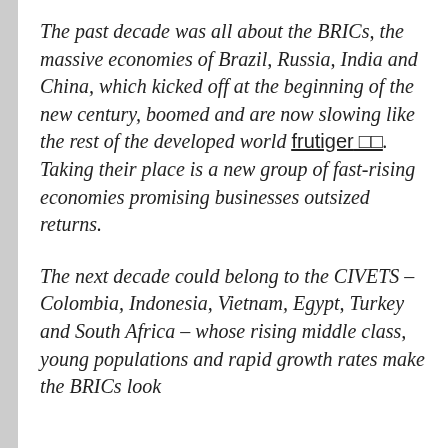The past decade was all about the BRICs, the massive economies of Brazil, Russia, India and China, which kicked off at the beginning of the new century, boomed and are now slowing like the rest of the developed world frutiger ▯▯. Taking their place is a new group of fast-rising economies promising businesses outsized returns.
The next decade could belong to the CIVETS – Colombia, Indonesia, Vietnam, Egypt, Turkey and South Africa – whose rising middle class, young populations and rapid growth rates make the BRICs look